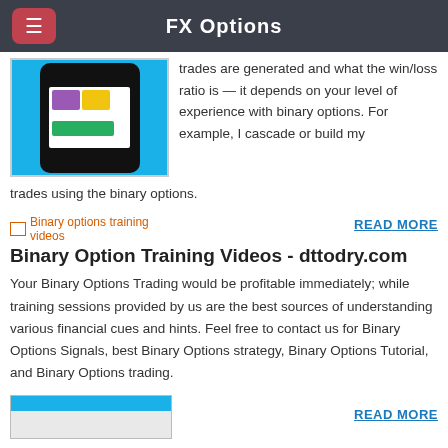FX Options
trades are generated and what the win/loss ratio is — it depends on your level of experience with binary options. For example, I cascade or build my trades using the binary options.
[Figure (screenshot): Broken image placeholder with alt text 'Binary options training videos' shown in orange/red color]
READ MORE
Binary Option Training Videos - dttodry.com
Your Binary Options Trading would be profitable immediately; while training sessions provided by us are the best sources of understanding various financial cues and hints. Feel free to contact us for Binary Options Signals, best Binary Options strategy, Binary Options Tutorial, and Binary Options trading.
[Figure (screenshot): Partial image visible at bottom of page]
READ MORE